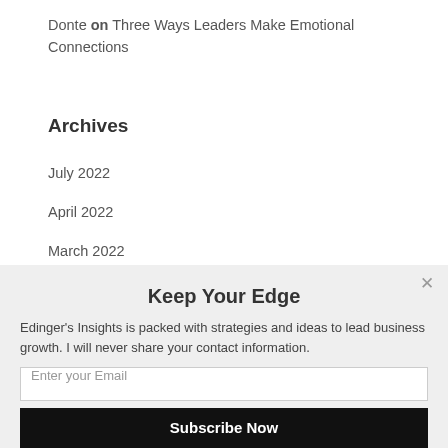Donte on Three Ways Leaders Make Emotional Connections
Archives
July 2022
April 2022
March 2022
Keep Your Edge
Edinger's Insights is packed with strategies and ideas to lead business growth. I will never share your contact information.
Enter your Email
Subscribe Now